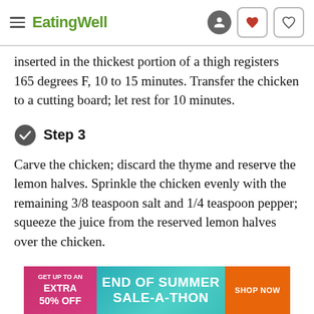EatingWell
inserted in the thickest portion of a thigh registers 165 degrees F, 10 to 15 minutes. Transfer the chicken to a cutting board; let rest for 10 minutes.
Step 3
Carve the chicken; discard the thyme and reserve the lemon halves. Sprinkle the chicken evenly with the remaining 3/8 teaspoon salt and 1/4 teaspoon pepper; squeeze the juice from the reserved lemon halves over the chicken.
[Figure (other): Advertisement banner: GET UP TO AN EXTRA 50% OFF - END OF SUMMER SALE-A-THON - SHOP NOW]